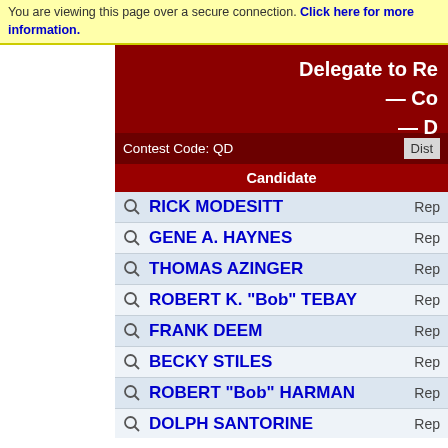You are viewing this page over a secure connection. Click here for more information.
Delegate to Re — Co — D
Contest Code: QD   Dist
| Candidate | Party |
| --- | --- |
| RICK MODESITT | Rep |
| GENE A. HAYNES | Rep |
| THOMAS AZINGER | Rep |
| ROBERT K. "Bob" TEBAY | Rep |
| FRANK DEEM | Rep |
| BECKY STILES | Rep |
| ROBERT "Bob" HARMAN | Rep |
| DOLPH SANTORINE | Rep |
| LEWIS H. REXROAD | Rep |
| DEVIN C. DAINES | Rep |